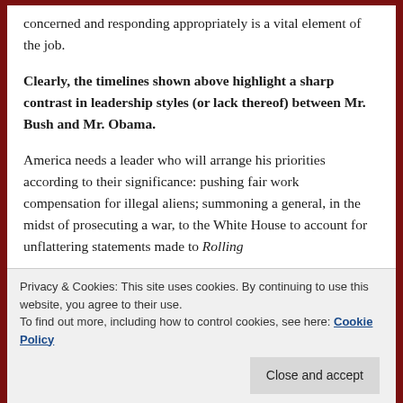concerned and responding appropriately is a vital element of the job.
Clearly, the timelines shown above highlight a sharp contrast in leadership styles (or lack thereof) between Mr. Bush and Mr. Obama.
America needs a leader who will arrange his priorities according to their significance: pushing fair work compensation for illegal aliens; summoning a general, in the midst of prosecuting a war, to the White House to account for unflattering statements made to Rolling
Privacy & Cookies: This site uses cookies. By continuing to use this website, you agree to their use.
To find out more, including how to control cookies, see here: Cookie Policy
Close and accept